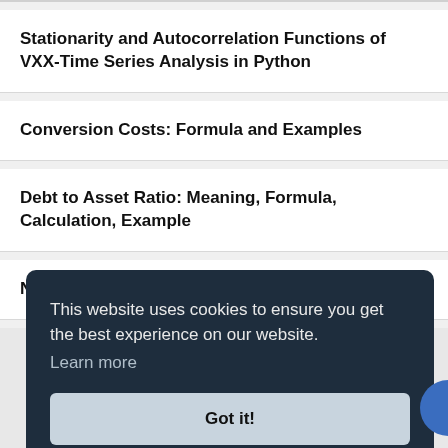Stationarity and Autocorrelation Functions of VXX-Time Series Analysis in Python
Conversion Costs: Formula and Examples
Debt to Asset Ratio: Meaning, Formula, Calculation, Example
Net Sales: Definition, Formula, Examples
This website uses cookies to ensure you get the best experience on our website. Learn more
Got it!